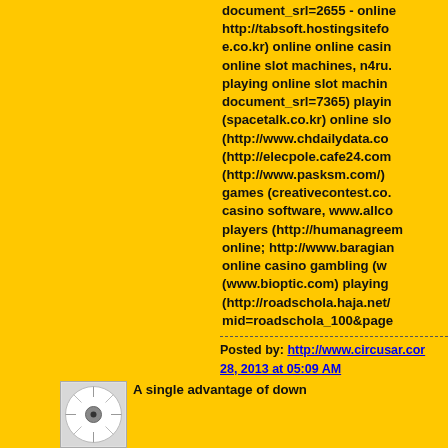document_srl=2655 - online http://tabsoft.hostingsitefo e.co.kr) online online casin online slot machines, n4ru. playing online slot machin document_srl=7365) playin (spacetalk.co.kr) online slo (http://www.chdailydata.co (http://elecpole.cafe24.com (http://www.pasksm.com/) games (creativecontest.co. casino software, www.allco players (http://humanagreem online; http://www.baragian online casino gambling (w (www.bioptic.com) playing (http://roadschola.haja.net/ mid=roadschola_100&page
Posted by: http://www.circusar.cor 28, 2013 at 05:09 AM
[Figure (illustration): Small circular geometric avatar image with spiral/radial pattern]
A single advantage of down